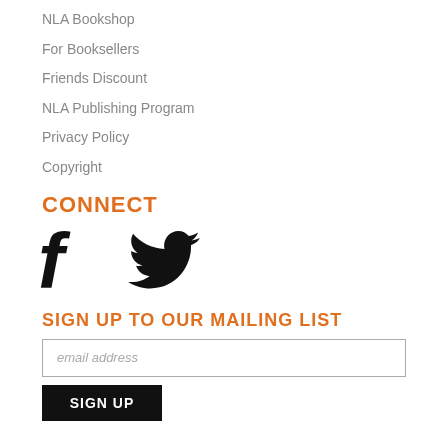NLA Bookshop
For Booksellers
Friends Discount
NLA Publishing Program
Privacy Policy
Copyright
CONNECT
[Figure (illustration): Facebook and Twitter social media icons side by side]
SIGN UP TO OUR MAILING LIST
email address
SIGN UP